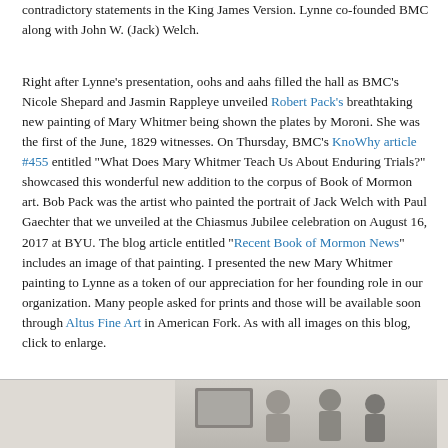contradictory statements in the King James Version. Lynne co-founded BMC along with John W. (Jack) Welch.
Right after Lynne's presentation, oohs and aahs filled the hall as BMC's Nicole Shepard and Jasmin Rappleye unveiled Robert Pack's breathtaking new painting of Mary Whitmer being shown the plates by Moroni. She was the first of the June, 1829 witnesses. On Thursday, BMC's KnoWhy article #455 entitled "What Does Mary Whitmer Teach Us About Enduring Trials?" showcased this wonderful new addition to the corpus of Book of Mormon art. Bob Pack was the artist who painted the portrait of Jack Welch with Paul Gaechter that we unveiled at the Chiasmus Jubilee celebration on August 16, 2017 at BYU. The blog article entitled "Recent Book of Mormon News" includes an image of that painting. I presented the new Mary Whitmer painting to Lynne as a token of our appreciation for her founding role in our organization. Many people asked for prints and those will be available soon through Altus Fine Art in American Fork. As with all images on this blog, click to enlarge.
[Figure (photo): Photograph showing people at an event, partially visible at the bottom of the page]